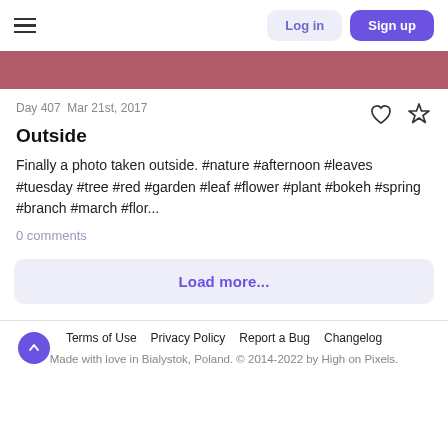Log in  Sign up
[Figure (illustration): Rose/mauve color banner strip]
Day 407  Mar 21st, 2017
Outside
Finally a photo taken outside. #nature #afternoon #leaves #tuesday #tree #red #garden #leaf #flower #plant #bokeh #spring #branch #march #flor...
0 comments
Load more...
Terms of Use  Privacy Policy  Report a Bug  Changelog
Made with love in Bialystok, Poland. © 2014-2022 by High on Pixels.